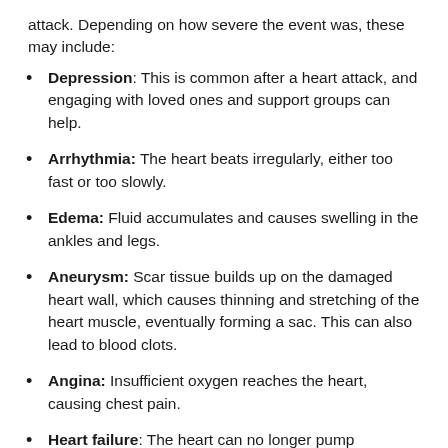attack. Depending on how severe the event was, these may include:
Depression: This is common after a heart attack, and engaging with loved ones and support groups can help.
Arrhythmia: The heart beats irregularly, either too fast or too slowly.
Edema: Fluid accumulates and causes swelling in the ankles and legs.
Aneurysm: Scar tissue builds up on the damaged heart wall, which causes thinning and stretching of the heart muscle, eventually forming a sac. This can also lead to blood clots.
Angina: Insufficient oxygen reaches the heart, causing chest pain.
Heart failure: The heart can no longer pump effectively, leading to fatigue, difficulty breathing,